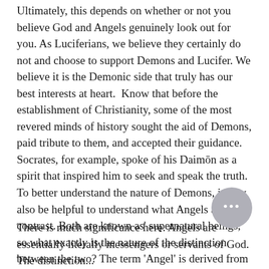Ultimately, this depends on whether or not you believe God and Angels genuinely look out for you. As Luciferians, we believe they certainly do not and choose to support Demons and Lucifer. We believe it is the Demonic side that truly has our best interests at heart. Know that before the establishment of Christianity, some of the most revered minds of history sought the aid of Demons, paid tribute to them, and accepted their guidance. Socrates, for example, spoke of his Daimōn as a spirit that inspired him to seek and speak the truth. To better understand the nature of Demons, it may also be helpful to understand what Angels are in contrast. Both are known as' supernatural beings,' so what exactly is the nature of the distinction between the two? The term 'Angel' is derived from the Greek word 'Angelos.' This is the Greek equivalent of the Hebrew word for mal'akh, meaning "messenger."
[Figure (other): Chat bubble icon with three dots, gray circular button]
There is much significance here. Angels are essentially literally messengers or servants of God. The distinction...